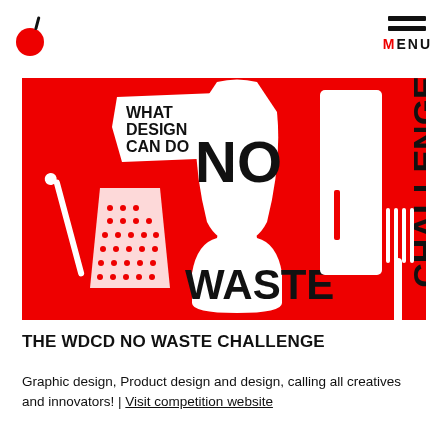MENU
[Figure (illustration): Red background banner for the WDCD No Waste Challenge showing white cutout shapes of plastic waste items (bag, bottle, cup, straw, fork, Q-tip) with bold black text reading 'NO WASTE' and 'CHALLENGE', plus a smaller torn-paper shape reading 'WHAT DESIGN CAN DO']
THE WDCD NO WASTE CHALLENGE
Graphic design, Product design and design, calling all creatives and innovators! | Visit competition website